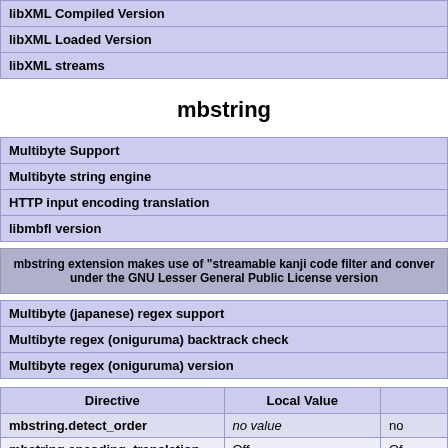| libXML Compiled Version |
| libXML Loaded Version |
| libXML streams |
mbstring
| Multibyte Support |
| Multibyte string engine |
| HTTP input encoding translation |
| libmbfl version |
mbstring extension makes use of "streamable kanji code filter and conver under the GNU Lesser General Public License version
| Multibyte (japanese) regex support |
| Multibyte regex (oniguruma) backtrack check |
| Multibyte regex (oniguruma) version |
| Directive | Local Value |  |
| --- | --- | --- |
| mbstring.detect_order | no value | no |
| mbstring.encoding_translation | Off | Of |
| mbstring.func_overload | 0 | 0 |